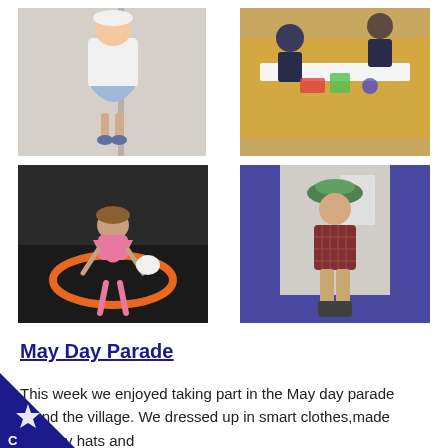[Figure (photo): Young girl in white jacket and blue skirt standing in front of a white door]
[Figure (photo): Children working at a table with craft materials on a patterned tablecloth]
[Figure (photo): Young child in pink dress bending down with an orange hoop on a dark floor]
[Figure (photo): Young boy in plaid shirt and hat standing against a wall]
May Day Parade
This week we enjoyed taking part in the May day parade round the village. We dressed up in smart clothes,made Mayday hats and